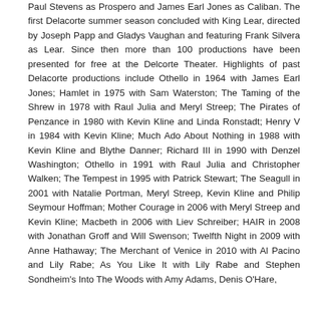Paul Stevens as Prospero and James Earl Jones as Caliban. The first Delacorte summer season concluded with King Lear, directed by Joseph Papp and Gladys Vaughan and featuring Frank Silvera as Lear. Since then more than 100 productions have been presented for free at the Delcorte Theater. Highlights of past Delacorte productions include Othello in 1964 with James Earl Jones; Hamlet in 1975 with Sam Waterston; The Taming of the Shrew in 1978 with Raul Julia and Meryl Streep; The Pirates of Penzance in 1980 with Kevin Kline and Linda Ronstadt; Henry V in 1984 with Kevin Kline; Much Ado About Nothing in 1988 with Kevin Kline and Blythe Danner; Richard III in 1990 with Denzel Washington; Othello in 1991 with Raul Julia and Christopher Walken; The Tempest in 1995 with Patrick Stewart; The Seagull in 2001 with Natalie Portman, Meryl Streep, Kevin Kline and Philip Seymour Hoffman; Mother Courage in 2006 with Meryl Streep and Kevin Kline; Macbeth in 2006 with Liev Schreiber; HAIR in 2008 with Jonathan Groff and Will Swenson; Twelfth Night in 2009 with Anne Hathaway; The Merchant of Venice in 2010 with Al Pacino and Lily Rabe; As You Like It with Lily Rabe and Stephen Sondheim's Into The Woods with Amy Adams, Denis O'Hare,